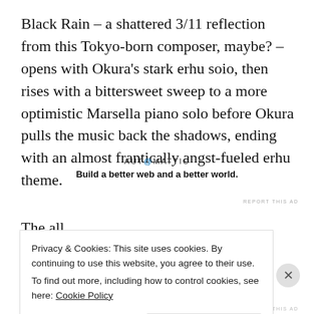Black Rain – a shattered 3/11 reflection from this Tokyo-born composer, maybe? – opens with Okura's stark erhu soio, then rises with a bittersweet sweep to a more optimistic Marsella piano solo before Okura pulls the music back the shadows, ending with an almost frantically angst-fueled erhu theme.
[Figure (other): Automattic advertisement: logo text 'AUT@MATTIC' with tagline 'Build a better web and a better world.']
REPORT THIS AD
Privacy & Cookies: This site uses cookies. By continuing to use this website, you agree to their use.
To find out more, including how to control cookies, see here: Cookie Policy